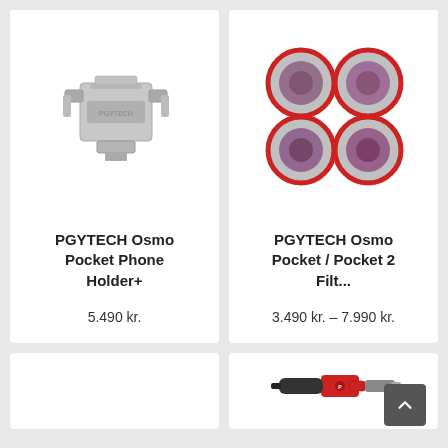[Figure (photo): PGYTECH Osmo Pocket Phone Holder+ product photo - silver/gray metal clip device]
PGYTECH Osmo Pocket Phone Holder+
5.490 kr.
[Figure (photo): PGYTECH Osmo Pocket / Pocket 2 Filters product photo - four circular filters with red rings arranged in a 2x2 grid]
PGYTECH Osmo Pocket / Pocket 2 Filt...
3.490 kr. – 7.990 kr.
[Figure (photo): Partial product card - bottom row left, content not visible]
[Figure (photo): Partial product card - bottom row right, showing red and black USB/lightning cable accessories]